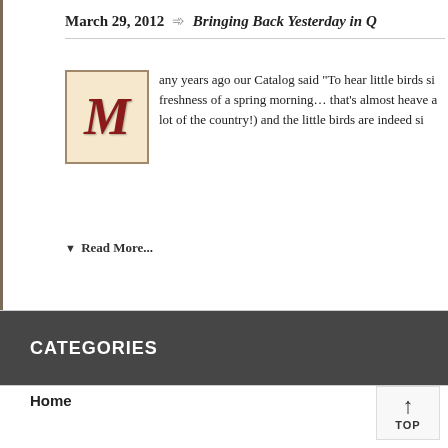March 29, 2012 → Bringing Back Yesterday in Q
any years ago our Catalog said "To hear little birds si freshness of a spring morning… that's almost heave a lot of the country!) and the little birds are indeed si
▼ Read More...
CATEGORIES
Home
Appliques
AZEK® Brand PVC